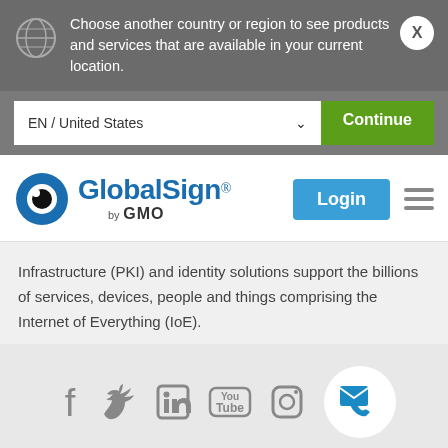Choose another country or region to see products and services that are available in your current location.
EN / United States  Continue
[Figure (logo): GlobalSign by GMO logo with blue eye icon]
Infrastructure (PKI) and identity solutions support the billions of services, devices, people and things comprising the Internet of Everything (IoE).
[Figure (infographic): Social media icons row: Facebook, Twitter, LinkedIn, YouTube, Instagram, and a contact bubble with phone and envelope icons]
ABOUT